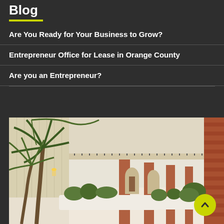Blog
Are You Ready for Your Business to Grow?
Entrepreneur Office for Lease in Orange County
Are you an Entrepreneur?
[Figure (photo): Interior atrium of an office building with tall palm trees, brick columns, arched doorways, a mezzanine level with metal railings, and white planter boxes with tropical plants.]